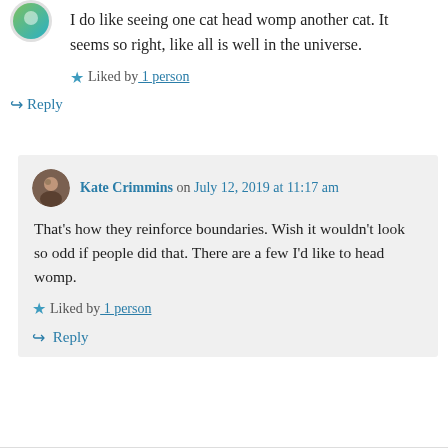[Figure (illustration): Circular avatar icon with teal/green gradient design, partially visible at top left]
I do like seeing one cat head womp another cat. It seems so right, like all is well in the universe.
Liked by 1 person
Reply
[Figure (photo): Small circular avatar photo of Kate Crimmins showing a person with dark background]
Kate Crimmins on July 12, 2019 at 11:17 am
That's how they reinforce boundaries. Wish it wouldn't look so odd if people did that. There are a few I'd like to head womp.
Liked by 1 person
Reply